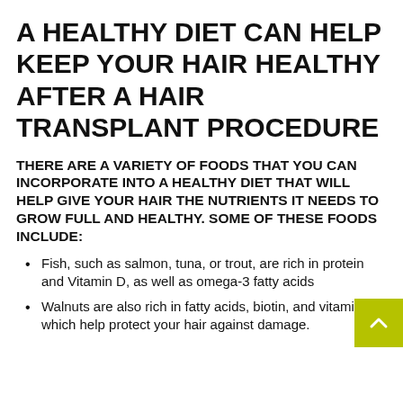A HEALTHY DIET CAN HELP KEEP YOUR HAIR HEALTHY AFTER A HAIR TRANSPLANT PROCEDURE
THERE ARE A VARIETY OF FOODS THAT YOU CAN INCORPORATE INTO A HEALTHY DIET THAT WILL HELP GIVE YOUR HAIR THE NUTRIENTS IT NEEDS TO GROW FULL AND HEALTHY. SOME OF THESE FOODS INCLUDE:
Fish, such as salmon, tuna, or trout, are rich in protein and Vitamin D, as well as omega-3 fatty acids
Walnuts are also rich in fatty acids, biotin, and vitamin E which help protect your hair against damage.